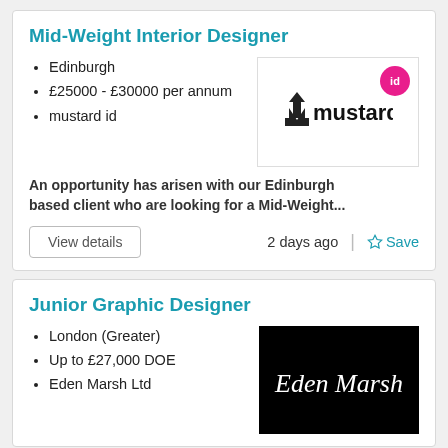Mid-Weight Interior Designer
Edinburgh
£25000 - £30000 per annum
mustard id
[Figure (logo): mustard id logo with pink 'id' badge]
An opportunity has arisen with our Edinburgh based client who are looking for a Mid-Weight...
View details    2 days ago  |  ☆ Save
Junior Graphic Designer
London (Greater)
Up to £27,000 DOE
Eden Marsh Ltd
[Figure (logo): Eden Marsh Ltd logo — white cursive text on black background]